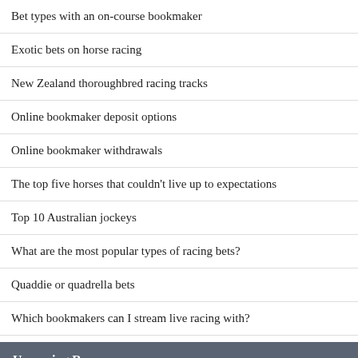Bet types with an on-course bookmaker
Exotic bets on horse racing
New Zealand thoroughbred racing tracks
Online bookmaker deposit options
Online bookmaker withdrawals
The top five horses that couldn't live up to expectations
Top 10 Australian jockeys
What are the most popular types of racing bets?
Quaddie or quadrella bets
Which bookmakers can I stream live racing with?
Upcoming Races
| Flag | Race | Time |
| --- | --- | --- |
| India flag | Mysore - Race 3 | 1m |
| Japan flag | Saga - Race 11 | 1m |